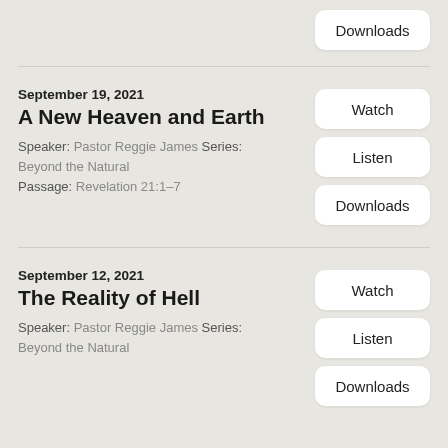Downloads
September 19, 2021
A New Heaven and Earth
Speaker: Pastor Reggie James Series: Beyond the Natural
Passage: Revelation 21:1–7
Watch | Listen | Downloads
September 12, 2021
The Reality of Hell
Speaker: Pastor Reggie James Series: Beyond the Natural
Watch | Listen | Downloads